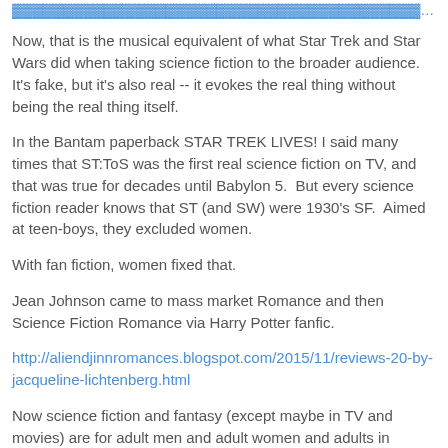[partial link text at top, truncated]
Now, that is the musical equivalent of what Star Trek and Star Wars did when taking science fiction to the broader audience.  It's fake, but it's also real -- it evokes the real thing without being the real thing itself.
In the Bantam paperback STAR TREK LIVES! I said many times that ST:ToS was the first real science fiction on TV, and that was true for decades until Babylon 5.  But every science fiction reader knows that ST (and SW) were 1930's SF.  Aimed at teen-boys, they excluded women.
With fan fiction, women fixed that.
Jean Johnson came to mass market Romance and then Science Fiction Romance via Harry Potter fanfic.
http://aliendjinnromances.blogspot.com/2015/11/reviews-20-by-jacqueline-lichtenberg.html
Now science fiction and fantasy (except maybe in TV and movies) are for adult men and adult women and adults in